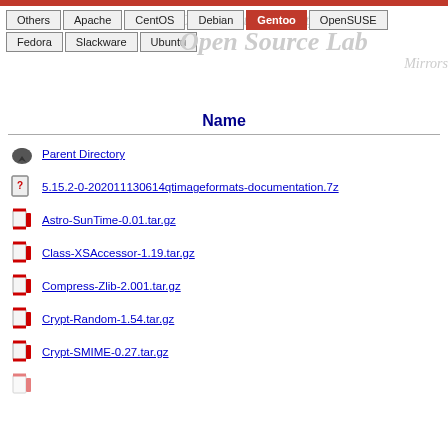[Figure (screenshot): OSU Open Source Lab Mirrors navigation header with tabs: Others, Apache, CentOS, Debian, Gentoo (active), OpenSUSE, Fedora, Slackware, Ubuntu, with watermark text Oregon State University Open Source Lab Mirrors]
Name
Parent Directory
5.15.2-0-202011130614qtimageformats-documentation.7z
Astro-SunTime-0.01.tar.gz
Class-XSAccessor-1.19.tar.gz
Compress-Zlib-2.001.tar.gz
Crypt-Random-1.54.tar.gz
Crypt-SMIME-0.27.tar.gz